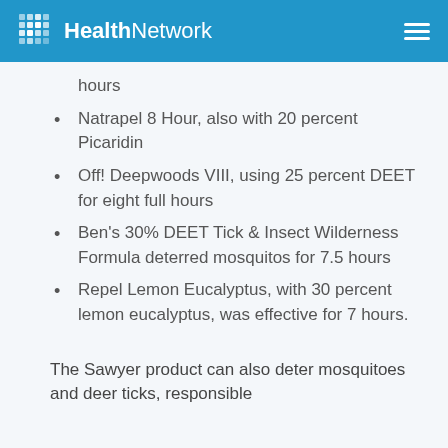HealthNetwork
hours
Natrapel 8 Hour, also with 20 percent Picaridin
Off! Deepwoods VIII, using 25 percent DEET for eight full hours
Ben's 30% DEET Tick & Insect Wilderness Formula deterred mosquitos for 7.5 hours
Repel Lemon Eucalyptus, with 30 percent lemon eucalyptus, was effective for 7 hours.
The Sawyer product can also deter mosquitoes and deer ticks, responsible for biting...